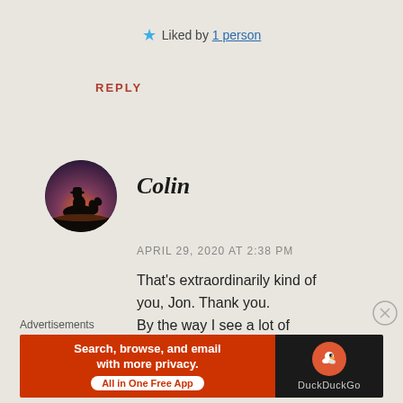★ Liked by 1 person
REPLY
[Figure (photo): Circular avatar showing silhouette of a person on horseback against a sunset/dusk sky]
Colin
APRIL 29, 2020 AT 2:38 PM
That's extraordinarily kind of you, Jon. Thank you. By the way I see a lot of incoming traffic to the site from Roobarbs – is my name
Advertisements
[Figure (screenshot): DuckDuckGo advertisement banner: orange left panel reading 'Search, browse, and email with more privacy. All in One Free App' and dark right panel with DuckDuckGo logo]